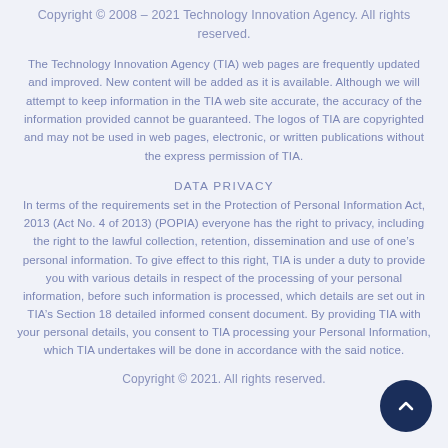Copyright © 2008 – 2021 Technology Innovation Agency. All rights reserved.
The Technology Innovation Agency (TIA) web pages are frequently updated and improved. New content will be added as it is available. Although we will attempt to keep information in the TIA web site accurate, the accuracy of the information provided cannot be guaranteed. The logos of TIA are copyrighted and may not be used in web pages, electronic, or written publications without the express permission of TIA.
DATA PRIVACY
In terms of the requirements set in the Protection of Personal Information Act, 2013 (Act No. 4 of 2013) (POPIA) everyone has the right to privacy, including the right to the lawful collection, retention, dissemination and use of one's personal information. To give effect to this right, TIA is under a duty to provide you with various details in respect of the processing of your personal information, before such information is processed, which details are set out in TIA's Section 18 detailed informed consent document. By providing TIA with your personal details, you consent to TIA processing your Personal Information, which TIA undertakes will be done in accordance with the said notice.
Copyright © 2021. All rights reserved.